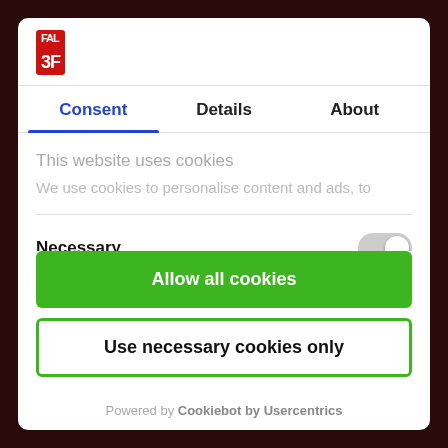[Figure (logo): 3F logo in red box]
Consent | Details | About
This website uses cookies
We use cookies to personalise content and ads, to
Necessary
Allow all cookies
Use necessary cookies only
Powered by Cookiebot by Usercentrics